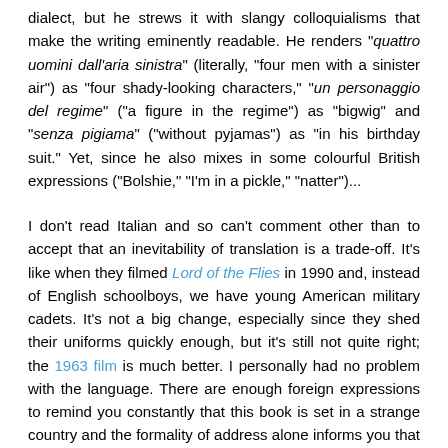dialect, but he strews it with slangy colloquialisms that make the writing eminently readable. He renders "quattro uomini dall'aria sinistra" (literally, "four men with a sinister air") as "four shady-looking characters," "un personaggio del regime" ("a figure in the regime") as "bigwig" and "senza pigiama" ("without pyjamas") as "in his birthday suit." Yet, since he also mixes in some colourful British expressions ("Bolshie," "I'm in a pickle," "natter")...
I don't read Italian and so can't comment other than to accept that an inevitability of translation is a trade-off. It's like when they filmed Lord of the Flies in 1990 and, instead of English schoolboys, we have young American military cadets. It's not a big change, especially since they shed their uniforms quickly enough, but it's still not quite right; the 1963 film is much better. I personally had no problem with the language. There are enough foreign expressions to remind you constantly that this book is set in a strange country and the formality of address alone informs you that this all happened during a different time.